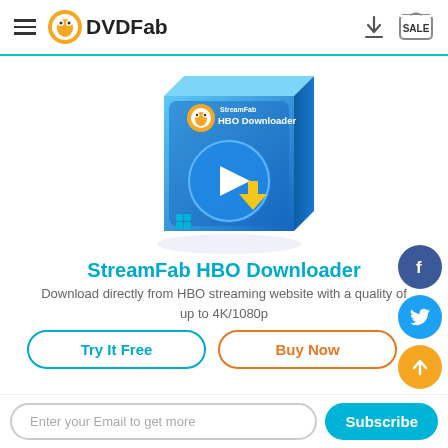DVDFab - StreamFab HBO Downloader product page header
[Figure (screenshot): StreamFab HBO Downloader product box art — blue box with play button and download arrow icon on a blue background with Windows logo]
StreamFab HBO Downloader
Download directly from HBO streaming website with a quality of up to 4K/1080p
Try It Free | Buy Now
Enter your Email to get more | Subscribe